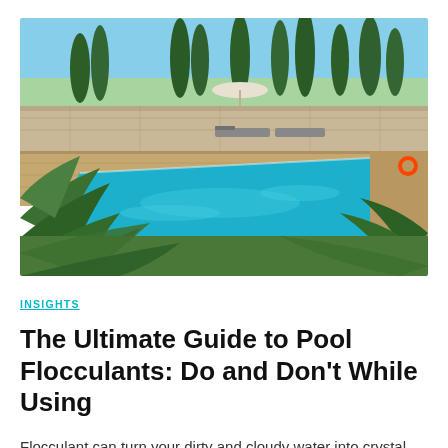[Figure (photo): Outdoor swimming pool with bright turquoise water surrounded by stone patio and lounge chairs, lush green trees and cypress trees in background, tropical palm plants in foreground, sunny day with white umbrella visible]
INSIGHTS
The Ultimate Guide to Pool Flocculants: Do and Don't While Using
Flocculant can turn your dirty and cloudy water into crystal clear in just a day. Find out the insights on pool floc usage